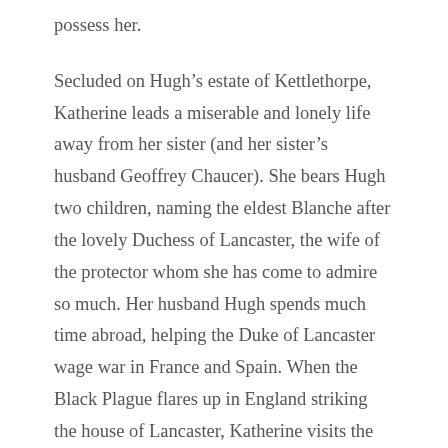possess her.
Secluded on Hugh's estate of Kettlethorpe, Katherine leads a miserable and lonely life away from her sister (and her sister's husband Geoffrey Chaucer). She bears Hugh two children, naming the eldest Blanche after the lovely Duchess of Lancaster, the wife of the protector whom she has come to admire so much. Her husband Hugh spends much time abroad, helping the Duke of Lancaster wage war in France and Spain. When the Black Plague flares up in England striking the house of Lancaster, Katherine visits the Duchess and obtains a priest for her in her last hours. She follows the funeral procession to London and greets John of Gaunt on his return from the continent. After his grief at his wife's death fades a little, the Duke's supressed attraction for Katherine comes to